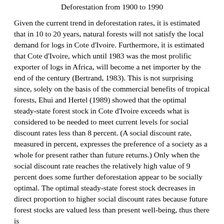Deforestation from 1900 to 1990
Given the current trend in deforestation rates, it is estimated that in 10 to 20 years, natural forests will not satisfy the local demand for logs in Cote d'Ivoire. Furthermore, it is estimated that Cote d'Ivoire, which until 1983 was the most prolific exporter of logs in Africa, will become a net importer by the end of the century (Bertrand, 1983). This is not surprising since, solely on the basis of the commercial benefits of tropical forests, Ehui and Hertel (1989) showed that the optimal steady-state forest stock in Cote d'Ivoire exceeds what is considered to be needed to meet current levels for social discount rates less than 8 percent. (A social discount rate, measured in percent, expresses the preference of a society as a whole for present rather than future returns.) Only when the social discount rate reaches the relatively high value of 9 percent does some further deforestation appear to be socially optimal. The optimal steady-state forest stock decreases in direct proportion to higher social discount rates because future forest stocks are valued less than present well-being, thus there is